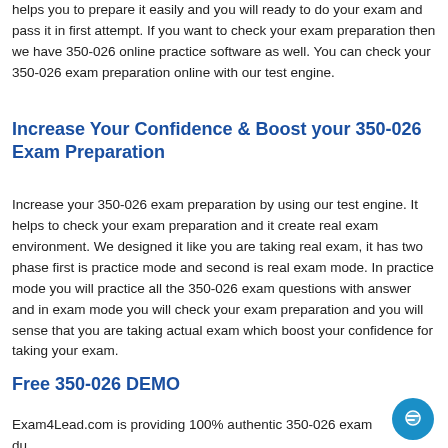helps you to prepare it easily and you will ready to do your exam and pass it in first attempt. If you want to check your exam preparation then we have 350-026 online practice software as well. You can check your 350-026 exam preparation online with our test engine.
Increase Your Confidence & Boost your 350-026 Exam Preparation
Increase your 350-026 exam preparation by using our test engine. It helps to check your exam preparation and it create real exam environment. We designed it like you are taking real exam, it has two phase first is practice mode and second is real exam mode. In practice mode you will practice all the 350-026 exam questions with answer and in exam mode you will check your exam preparation and you will sense that you are taking actual exam which boost your confidence for taking your exam.
Free 350-026 DEMO
Exam4Lead.com is providing 100% authentic 350-026 exam du...